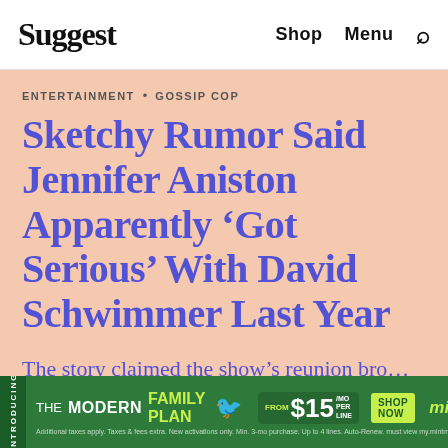Suggest  Shop  Menu  🔍
ENTERTAINMENT • GOSSIP COP
Sketchy Rumor Said Jennifer Aniston Apparently ‘Got Serious’ With David Schwimmer Last Year
The story claimed the show’s reunion bro  ther.
[Figure (other): Advertisement banner for Mint Mobile The Modern Family Plan, starting from $15/mo per line, with Shop Now button and Mint Mobile logo.]